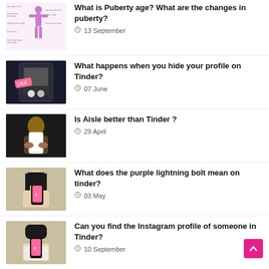[Figure (illustration): Illustration of female body showing puberty changes with labels]
What is Puberty age? What are the changes in puberty?
13 September
[Figure (screenshot): Screenshot of Tinder app interface on a phone]
What happens when you hide your profile on Tinder?
07 June
[Figure (photo): Person holding a phone, dark background]
Is Aisle better than Tinder ?
29 April
[Figure (photo): Woman holding phone with pink Tinder screen]
What does the purple lightning bolt mean on tinder?
03 May
[Figure (photo): Woman holding phone with pink Tinder screen, white sweater]
Can you find the Instagram profile of someone in Tinder?
10 September
[Figure (screenshot): Screenshot of Tinder showing 10 Likes]
How to unblur tinder photo?